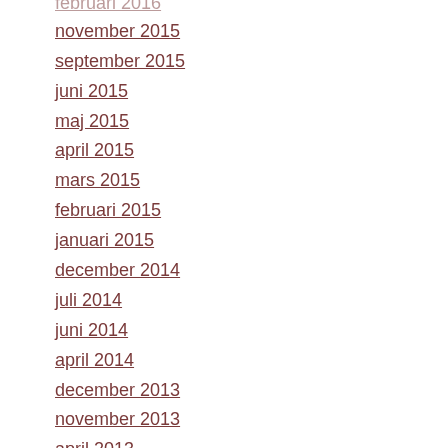februari 2016
november 2015
september 2015
juni 2015
maj 2015
april 2015
mars 2015
februari 2015
januari 2015
december 2014
juli 2014
juni 2014
april 2014
december 2013
november 2013
april 2013
augusti 2011
december 2010
november 2010